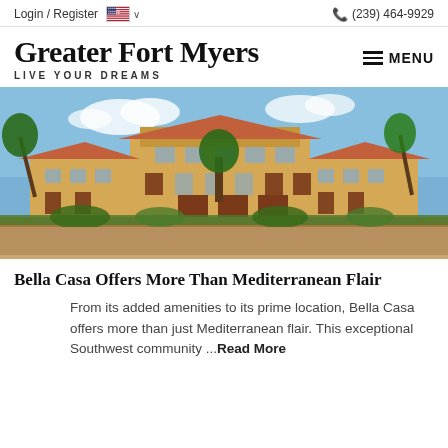Login / Register  🇺🇸 ∨   📞 (239) 464-9929
Greater Fort Myers
LIVE YOUR DREAMS
[Figure (photo): Exterior photo of Bella Casa Mediterranean-style residential community building with terracotta roof tiles, yellow stucco walls, balconies, palm trees, and landscaping in Southwest Florida.]
Bella Casa Offers More Than Mediterranean Flair
From its added amenities to its prime location, Bella Casa offers more than just Mediterranean flair. This exceptional Southwest community ...Read More